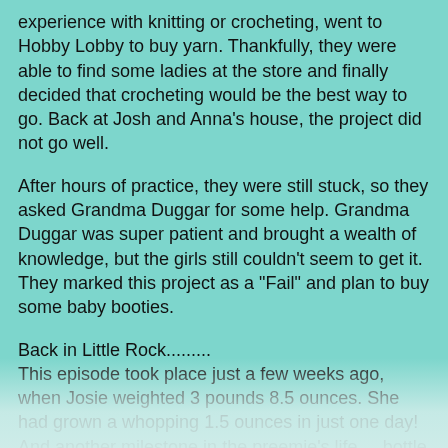experience with knitting or crocheting, went to Hobby Lobby to buy yarn. Thankfully, they were able to find some ladies at the store and finally decided that crocheting would be the best way to go. Back at Josh and Anna's house, the project did not go well.
After hours of practice, they were still stuck, so they asked Grandma Duggar for some help. Grandma Duggar was super patient and brought a wealth of knowledge, but the girls still couldn't seem to get it. They marked this project as a "Fail" and plan to buy some baby booties.
Back in Little Rock......... This episode took place just a few weeks ago, when Josie weighted 3 pounds 8.5 ounces. She had grown a whopping 1.5 ounces in just one day! And another milestone in the preemie's life.....bottle feeding!
Until now, the focus has been on survival, and the nurses say that bottle feeding is the first step to going home. It was a learning process for Michelle, who has never, in all her years of nursing, fed a baby as tiny as Josie. Practice makes